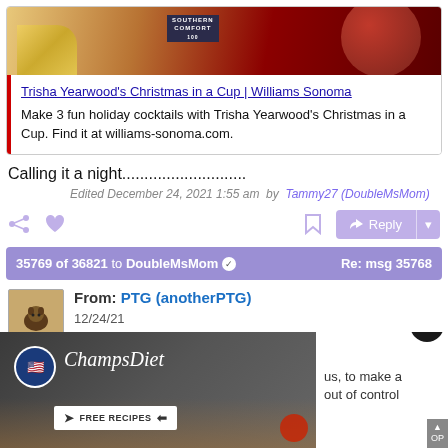[Figure (screenshot): Screenshot of a social media/forum post showing a Williams Sonoma ad card and user interaction elements]
Trisha Yearwood's Christmas in a Cup | Williams Sonoma
Make 3 fun holiday cocktails with Trisha Yearwood's Christmas in a Cup. Find it at williams-sonoma.com.
Calling it a night............................
Edited December 24, 2021 1:55 am  by  Tammy27 (DoubleMsMom)
35769 of 36821 to DoubleMsMom  Re: msg 35768
From: PTG (anotherPTG)
12/24/21
[Figure (screenshot): ChampsDiet advertisement with FREE RECIPES button and text 'us, to make a ... out of control']